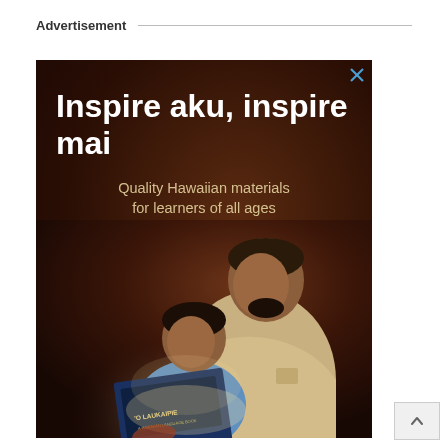Advertisement
[Figure (photo): Advertisement banner showing an adult man and a young child reading a book together. The book is titled 'O LAUKAIPIE. Text overlay reads 'Inspire aku, inspire mai' and 'Quality Hawaiian materials for learners of all ages'. Dark brown background with warm lighting on the figures.]